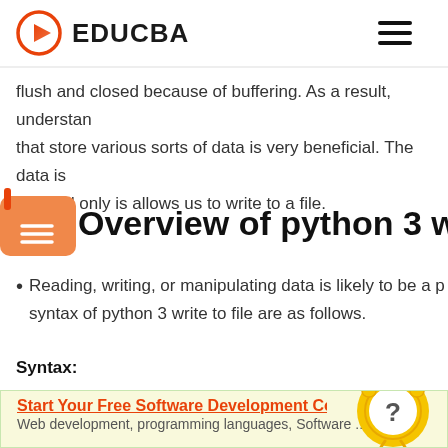EDUCBA
Python 3 write to file method saves a string called str to a fi... flush and closed because of buffering. As a result, understan... that store various sorts of data is very beneficial. The data is... Append only is allows us to write to a file.
Overview of python 3 write to
Reading, writing, or manipulating data is likely to be a p... syntax of python 3 write to file are as follows.
Syntax:
Start Your Free Software Development Co... Web development, programming languages, Software ... ners